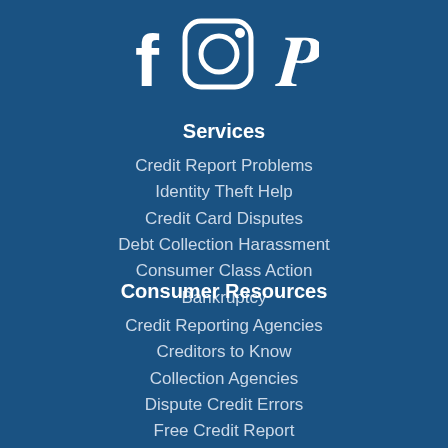[Figure (illustration): Social media icons: Facebook, Instagram, Pinterest in white on dark blue background]
Services
Credit Report Problems
Identity Theft Help
Credit Card Disputes
Debt Collection Harassment
Consumer Class Action
Bankruptcy
Consumer Resources
Credit Reporting Agencies
Creditors to Know
Collection Agencies
Dispute Credit Errors
Free Credit Report
The Law